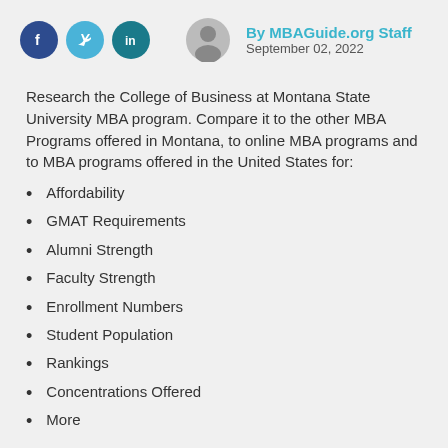[Figure (infographic): Social media share icons: Facebook (dark blue circle with f), Twitter (light blue circle with bird icon), LinkedIn (teal circle with in), and a grey avatar/profile icon]
By MBAGuide.org Staff
September 02, 2022
Research the College of Business at Montana State University MBA program. Compare it to the other MBA Programs offered in Montana, to online MBA programs and to MBA programs offered in the United States for:
Affordability
GMAT Requirements
Alumni Strength
Faculty Strength
Enrollment Numbers
Student Population
Rankings
Concentrations Offered
More